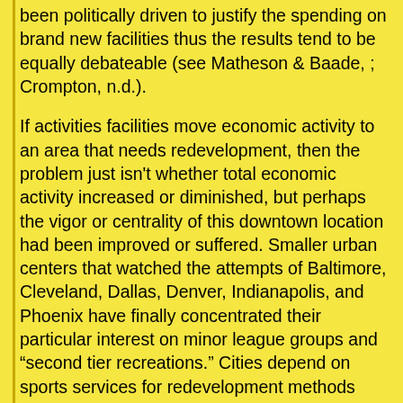been politically driven to justify the spending on brand new facilities thus the results tend to be equally debateable (see Matheson & Baade, ; Crompton, n.d.).
If activities facilities move economic activity to an area that needs redevelopment, then the problem just isn't whether total economic activity increased or diminished, but perhaps the vigor or centrality of this downtown location had been improved or suffered. Smaller urban centers that watched the attempts of Baltimore, Cleveland, Dallas, Denver, Indianapolis, and Phoenix have finally concentrated their particular interest on minor league groups and “second tier recreations.” Cities depend on sports services for redevelopment methods even though numerous independent analyses indicate that these frameworks and groups are not correlated with regional financial development. Through the 1970s and 1990s most central cities and many larger suburban and edge communities concentrated downtown economic development attempts on some aspect of the hospitality sector. This way, we are able to maximize player access and therefore visibility for